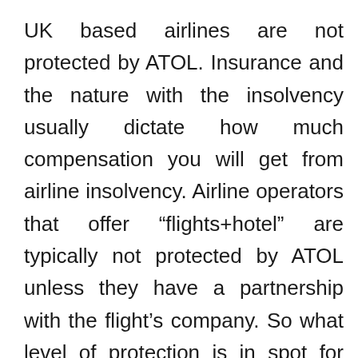UK based airlines are not protected by ATOL. Insurance and the nature with the insolvency usually dictate how much compensation you will get from airline insolvency. Airline operators that offer “flights+hotel” are typically not protected by ATOL unless they have a partnership with the flight’s company. So what level of protection is in spot for airlines? In the event of delays and cancellations, European law requires airlines to organize alternative flights and to offer reimbursement for refreshments, communications, and accommodation in the case of prolonged delays and overnight stays.